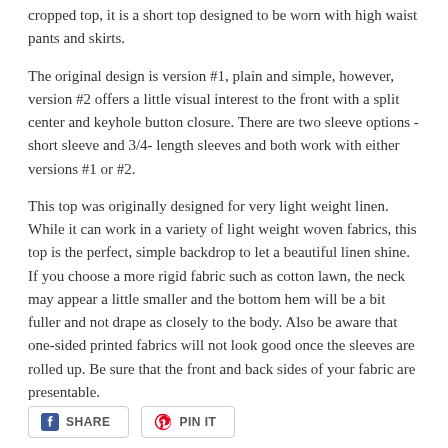cropped top, it is a short top designed to be worn with high waist pants and skirts.
The original design is version #1, plain and simple, however, version #2 offers a little visual interest to the front with a split center and keyhole button closure. There are two sleeve options - short sleeve and 3/4- length sleeves and both work with either versions #1 or #2.
This top was originally designed for very light weight linen. While it can work in a variety of light weight woven fabrics, this top is the perfect, simple backdrop to let a beautiful linen shine. If you choose a more rigid fabric such as cotton lawn, the neck may appear a little smaller and the bottom hem will be a bit fuller and not drape as closely to the body. Also be aware that one-sided printed fabrics will not look good once the sleeves are rolled up. Be sure that the front and back sides of your fabric are presentable.
[Figure (other): Social sharing buttons: Facebook SHARE and Pinterest PIN IT]